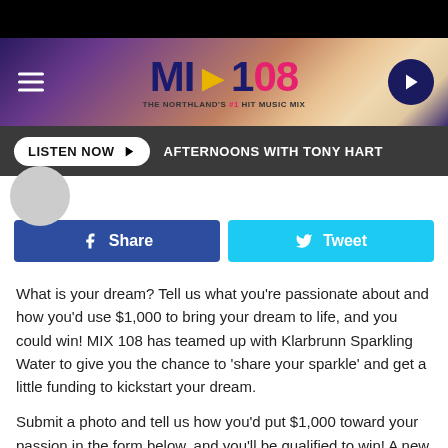[Figure (logo): MIX 108 radio station logo with tagline 'THE NORTHLAND'S #1 HIT MUSIC MIX']
LISTEN NOW ▶  AFTERNOONS WITH TONY HART
f Share   🐦 Tweet
What is your dream? Tell us what you're passionate about and how you'd use $1,000 to bring your dream to life, and you could win! MIX 108 has teamed up with Klarbrunn Sparkling Water to give you the chance to 'share your sparkle' and get a little funding to kickstart your dream.
Submit a photo and tell us how you'd put $1,000 toward your passion in the form below, and you'll be qualified to win! A new finalist will be selected each week from from June 19